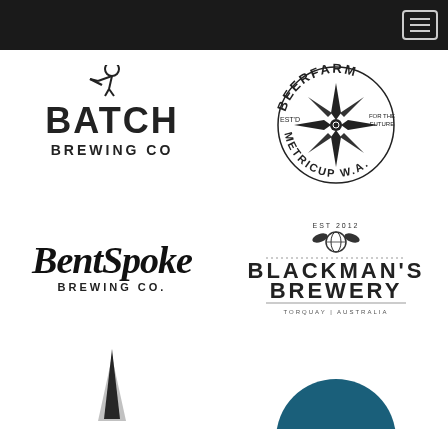Navigation menu
[Figure (logo): Batch Brewing Co logo - distressed bold typography with character holding megaphone]
[Figure (logo): Beerfarm Metricup W.A. logo - circular badge with star/compass rose, Est'd, For The Future]
[Figure (logo): BentSpoke Brewing Co. logo - script typography]
[Figure (logo): Blackman's Brewery logo - bold uppercase text with hop/globe emblem, Torquay Australia]
[Figure (logo): Partial logo visible at bottom left - dark spike/tower shape]
[Figure (logo): Partial logo visible at bottom right - dark teal circular shape]